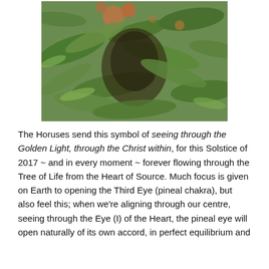[Figure (photo): A blurry close-up photograph of green foliage and leaves with hints of orange and red, taken outdoors. The image shows plant leaves and branches against a lush green background.]
The Horuses send this symbol of seeing through the Golden Light, through the Christ within, for this Solstice of 2017 ~ and in every moment ~ forever flowing through the Tree of Life from the Heart of Source. Much focus is given on Earth to opening the Third Eye (pineal chakra), but also feel this; when we're aligning through our centre, seeing through the Eye (I) of the Heart, the pineal eye will open naturally of its own accord, in perfect equilibrium and